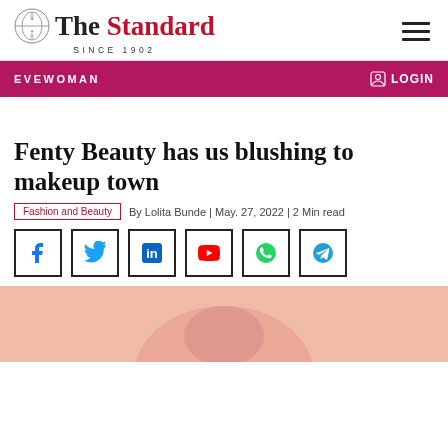The Standard SINCE 1902
EVEWOMAN
LOGIN
Fenty Beauty has us blushing to makeup town
Fashion and Beauty | By Lolita Bunde | May. 27, 2022 | 2 Min read
[Figure (other): Social media share icons: Facebook, Twitter, LinkedIn, YouTube, WhatsApp, Telegram]
[Figure (photo): Person wearing makeup, close-up photo with pink/peach background tones]